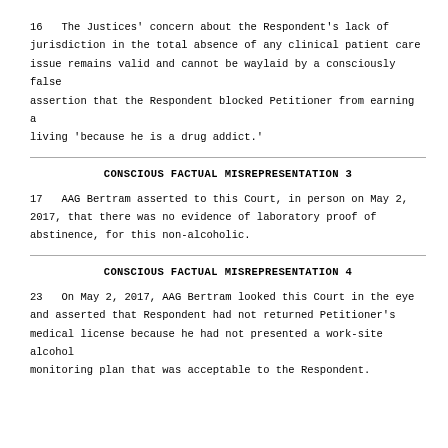16   The Justices' concern about the Respondent's lack of jurisdiction in the total absence of any clinical patient care issue remains valid and cannot be waylaid by a consciously false assertion that the Respondent blocked Petitioner from earning a living 'because he is a drug addict.'
CONSCIOUS FACTUAL MISREPRESENTATION 3
17   AAG Bertram asserted to this Court, in person on May 2, 2017, that there was no evidence of laboratory proof of abstinence, for this non-alcoholic.
CONSCIOUS FACTUAL MISREPRESENTATION 4
23   On May 2, 2017, AAG Bertram looked this Court in the eye and asserted that Respondent had not returned Petitioner's medical license because he had not presented a work-site alcohol monitoring plan that was acceptable to the Respondent.